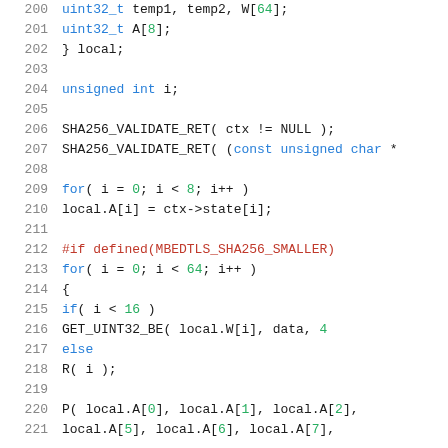[Figure (screenshot): Source code listing in C showing lines 200-221 of a SHA256 implementation. Lines include local struct with uint32_t A[8], unsigned int i declaration, SHA256_VALIDATE_RET calls, loops, #if defined(MBEDTLS_SHA256_SMALLER) preprocessor block, and P() macro call.]